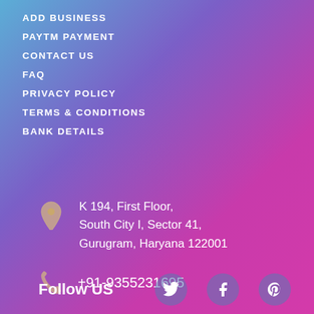ADD BUSINESS
PAYTM PAYMENT
CONTACT US
FAQ
PRIVACY POLICY
TERMS & CONDITIONS
BANK DETAILS
K 194, First Floor, South City I, Sector 41, Gurugram, Haryana 122001
+91-9355231695
Follow US